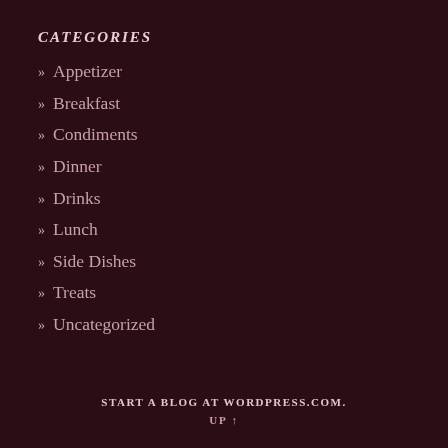CATEGORIES
» Appetizer
» Breakfast
» Condiments
» Dinner
» Drinks
» Lunch
» Side Dishes
» Treats
» Uncategorized
START A BLOG AT WORDPRESS.COM. UP ↑